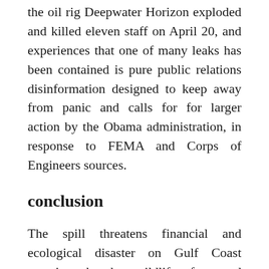the oil rig Deepwater Horizon exploded and killed eleven staff on April 20, and experiences that one of many leaks has been contained is pure public relations disinformation designed to keep away from panic and calls for for larger action by the Obama administration, in response to FEMA and Corps of Engineers sources.
conclusion
The spill threatens financial and ecological disaster on Gulf Coast vacationer beaches, wildlife refuges and fishing grounds. BP is exploring a number of new options to manage the spill after its 98-ton containment chamber, which took about two weeks to build, struck a snag on Saturday.